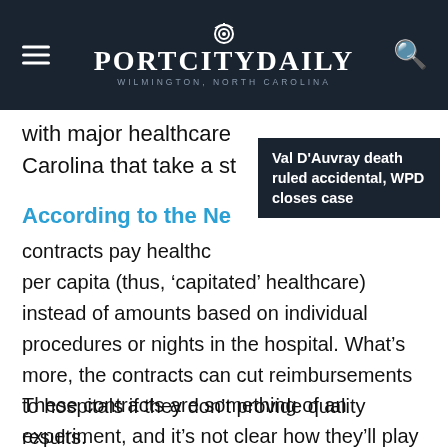PortCityDaily — Wilmington, North Carolina
with major healthcare … Carolina that take a st…
Val D'Auvray death ruled accidental, WPD closes case
According to the Ne…
contracts pay healthca… per capita (thus, 'capitated' healthcare) instead of amounts based on individual procedures or nights in the hospital. What's more, the contracts can cut reimbursements to hospitals if they don't provide quality results.
These contracts are something of an experiment, and it's not clear how they'll play out.